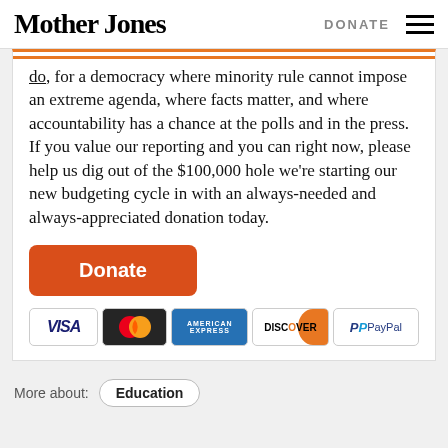Mother Jones | DONATE
do, for a democracy where minority rule cannot impose an extreme agenda, where facts matter, and where accountability has a chance at the polls and in the press. If you value our reporting and you can right now, please help us dig out of the $100,000 hole we're starting our new budgeting cycle in with an always-needed and always-appreciated donation today.
[Figure (other): Orange Donate button followed by payment icons: VISA, MasterCard, American Express, Discover, PayPal]
More about: Education